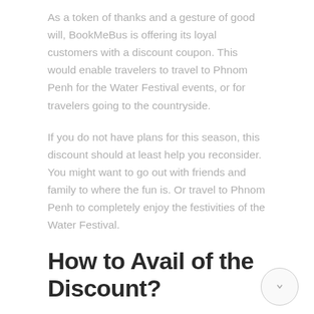As a token of thanks and a gesture of good will, BookMeBus is offering its loyal customers with a discount coupon. This would enable travelers to travel to Phnom Penh for the Water Festival events, or for travelers going to the countryside.
If you do not have plans for this season, this discount should at least help you reconsider. You might want to go out with friends and family to where the fun is. Or travel to Phnom Penh to completely enjoy the festivities of the Water Festival.
How to Avail of the Discount?
There are two ways that you can avail of the